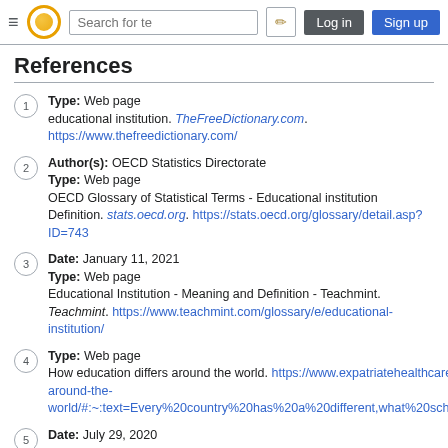≡ [logo] Search for te [edit] Log in  Sign up
References
1. Type: Web page educational institution. TheFreeDictionary.com. https://www.thefreedictionary.com/
2. Author(s): OECD Statistics Directorate Type: Web page OECD Glossary of Statistical Terms - Educational institution Definition. stats.oecd.org. https://stats.oecd.org/glossary/detail.asp?ID=743
3. Date: January 11, 2021 Type: Web page Educational Institution - Meaning and Definition - Teachmint. Teachmint. https://www.teachmint.com/glossary/e/educational-institution/
4. Type: Web page How education differs around the world. https://www.expatriatehealthcare.com/how-education-differs-around-the-world/#:~:text=Every%20country%20has%20a%20different,what%20schooling%20means%20to%20them.
5. Date: July 29, 2020